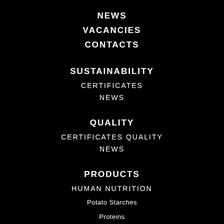NEWS
VACANCIES
CONTACTS
SUSTAINABILITY
CERTIFICATES
NEWS
QUALITY
CERTIFICATES QUALITY
NEWS
PRODUCTS
HUMAN NUTRITION
Potato Starches
Proteins